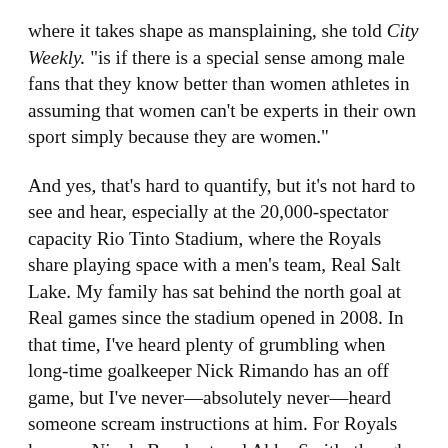where it takes shape as mansplaining, she told City Weekly. "is if there is a special sense among male fans that they know better than women athletes in assuming that women can't be experts in their own sport simply because they are women."
And yes, that's hard to quantify, but it's not hard to see and hear, especially at the 20,000-spectator capacity Rio Tinto Stadium, where the Royals share playing space with a men's team, Real Salt Lake. My family has sat behind the north goal at Real games since the stadium opened in 2008. In that time, I've heard plenty of grumbling when long-time goalkeeper Nick Rimando has an off game, but I've never—absolutely never—heard someone scream instructions at him. For Royals keepers Nicole Barnhart and Abby Smith, though, it's "get back on your line" and "cover the cross"